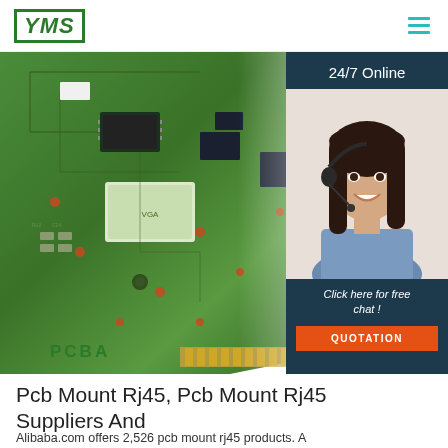YMS logo and navigation menu
[Figure (photo): Green PCB (printed circuit board) assembly with components, labeled PCBA in green text at bottom left. Overlaid on the right is a customer service chat panel showing a woman with a headset, '24/7 Online' text, 'Click here for free chat!' message, and an orange QUOTATION button.]
Pcb Mount Rj45, Pcb Mount Rj45 Suppliers And
Alibaba.com offers 2,526 pcb mount rj45 products. A wide variety of pcb mount rj45 options are available to